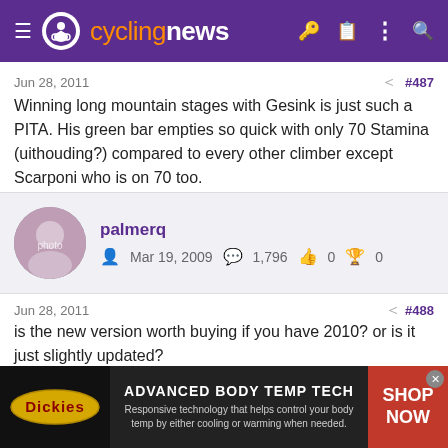cyclingnews
Jun 28, 2011  #487
Winning long mountain stages with Gesink is just such a PITA. His green bar empties so quick with only 70 Stamina (uithouding?) compared to every other climber except Scarponi who is on 70 too.
palmerq  Mar 19, 2009  1,796  0  0
Jun 28, 2011  #488
is the new version worth buying if you have 2010? or is it just slightly updated?
[Figure (advertisement): Dickies ad: ADVANCED BODY TEMP TECH - Responsive technology that helps control your body temp by either cooling or warming when needed. SHOP NOW]